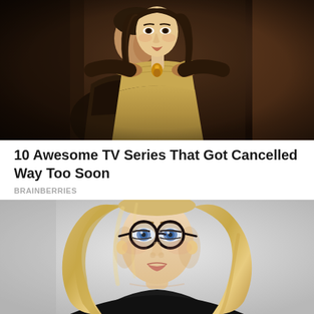[Figure (photo): A man in period costume standing behind a young woman in a golden medieval dress, placing a necklace on her. Dark, moody cinematic lighting. Scene appears to be from a historical TV series.]
10 Awesome TV Series That Got Cancelled Way Too Soon
BRAINBERRIES
[Figure (photo): A blonde woman with dark-framed round glasses wearing a dark top, photographed against a light gray background. Portrait-style promotional photo.]